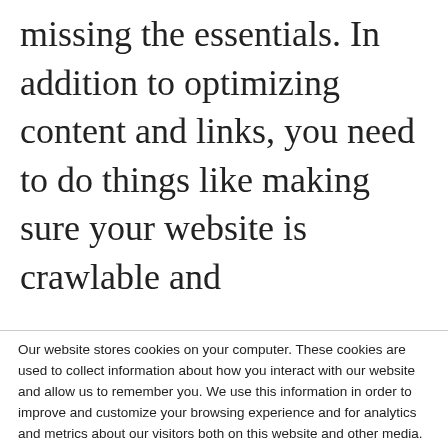missing the essentials. In addition to optimizing content and links, you need to do things like making sure your website is crawlable and mobile-friendly by design...
Our website stores cookies on your computer. These cookies are used to collect information about how you interact with our website and allow us to remember you. We use this information in order to improve and customize your browsing experience and for analytics and metrics about our visitors both on this website and other media. To find out more about the cookies we use, see our Privacy Policy and Cookie Policy.
If you decline, your information won't be tracked when you visit this website. A single cookie will be used in your browser to remember your preference not to be tracked.